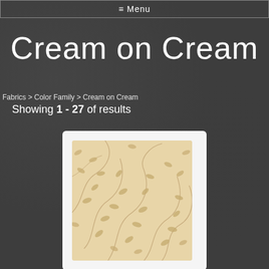≡ Menu
Cream on Cream
Fabrics > Color Family > Cream on Cream
Showing 1 - 27 of results
[Figure (photo): A cream-colored fabric with a repeating vine and leaf pattern in tan/gold tones on a light beige background, shown as a product card with white border.]